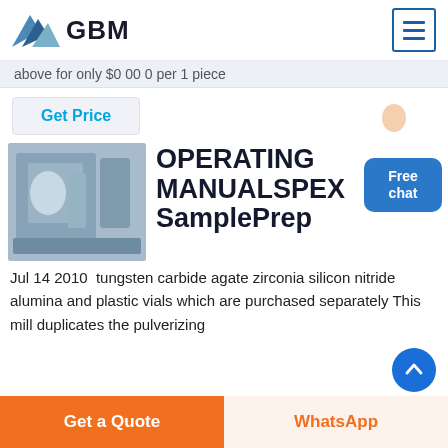GBM
above for only $0 00 0 per 1 piece
Get Price
Free chat
[Figure (photo): Industrial mill/grinding machine in a factory setting]
OPERATING MANUALSPEX SamplePrep
Jul 14 2010  tungsten carbide agate zirconia silicon nitride alumina and plastic vials which are purchased separately This mill duplicates the pulverizing
Get a Quote
WhatsApp